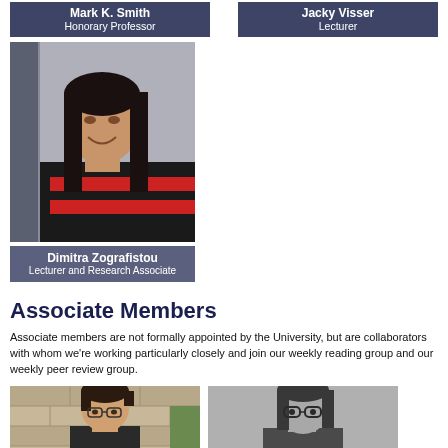Mark K. Smith
Honorary Professor
Jacky Visser
Lecturer
[Figure (photo): Portrait photo of Dimitra Zografistou]
Dimitra Zografistou
Lecturer and Research Associate
Associate Members
Associate members are not formally appointed by the University, but are collaborators with whom we're working particularly closely and join our weekly reading group and our weekly peer review group.
[Figure (photo): Portrait photo of associate member (male, glasses)]
[Figure (photo): Portrait photo of associate member (female, glasses, black and white)]